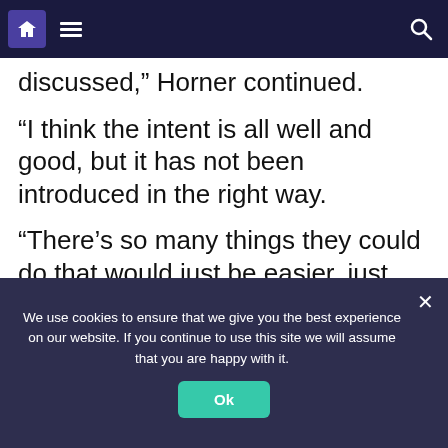Navigation bar with home icon, menu icon, and search icon
discussed,” Horner continued.
“I think the intent is all well and good, but it has not been introduced in the right way.
“There’s so many things they could do that would just be easier, just stick a bigger plank on it for example, that will get the cars off the ground.
We use cookies to ensure that we give you the best experience on our website. If you continue to use this site we will assume that you are happy with it.